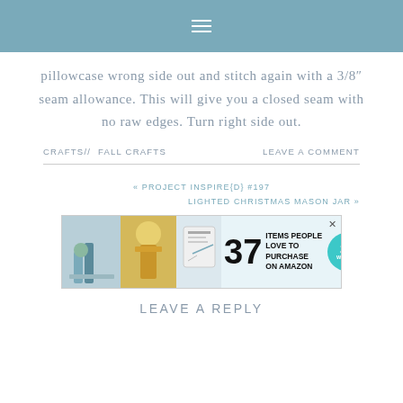≡
pillowcase wrong side out and stitch again with a 3/8″ seam allowance. This will give you a closed seam with no raw edges. Turn right side out.
CRAFTS// FALL CRAFTS    LEAVE A COMMENT
« PROJECT INSPIRE{D} #197
LIGHTED CHRISTMAS MASON JAR »
[Figure (other): Advertisement banner: 37 Items People Love to Purchase on Amazon, with teal 22 Words badge]
LEAVE A REPLY